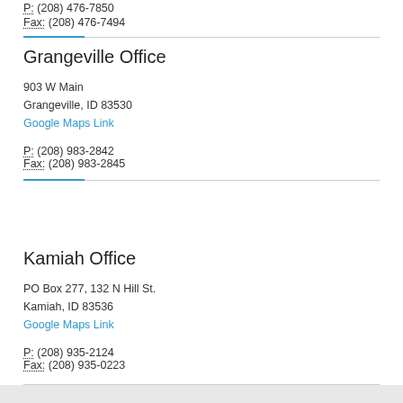P: (208) 476-7850
Fax: (208) 476-7494
Grangeville Office
903 W Main
Grangeville, ID 83530
Google Maps Link
P: (208) 983-2842
Fax: (208) 983-2845
Kamiah Office
PO Box 277, 132 N Hill St.
Kamiah, ID 83536
Google Maps Link
P: (208) 935-2124
Fax: (208) 935-0223